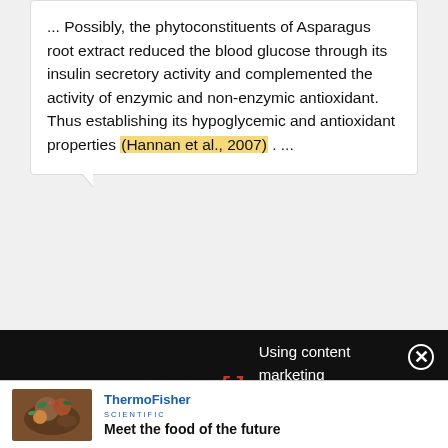... Possibly, the phytoconstituents of Asparagus root extract reduced the blood glucose through its insulin secretory activity and complemented the activity of enzymic and non-enzymic antioxidant. Thus establishing its hypoglycemic and antioxidant properties (Hannan et al., 2007) . ...
On the Hypoglycemic and Antioxidant Activities of Root Extract of Asparagus racemosus in Alloxan-Induced...
Article  Full-text available
Using content marketing in full-funnel campaigns
[Figure (photo): Food photo showing colorful vegetable/plant-based dish, part of Thermo Fisher Scientific advertisement]
ThermoFisher SCIENTIFIC  Meet the food of the future